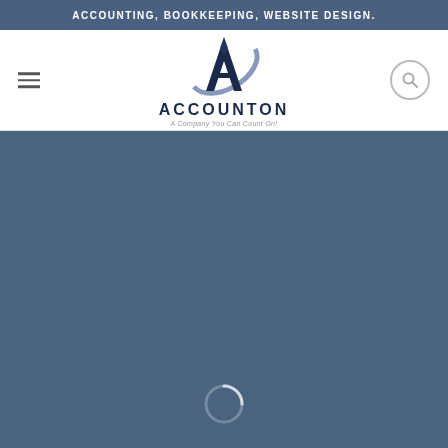ACCOUNTING, BOOKKEEPING, WEBSITE DESIGN.
[Figure (logo): Accounton logo: stylized letter A with swoosh arc, company name ACCOUNTON below, tagline 'A Company You Can Count On!' underneath]
[Figure (other): Dark steel-blue full-width background section with a loading spinner icon near the bottom center]